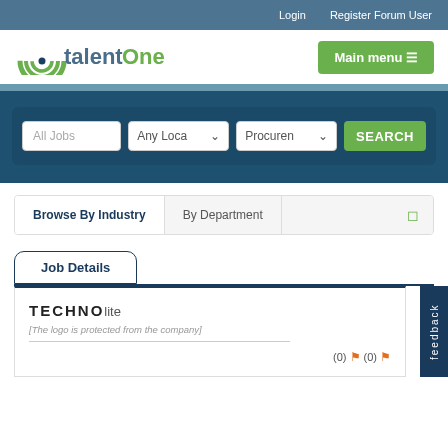Login   Register Forum User
[Figure (logo): talentOne logo with green arc/rainbow icon and blue text]
Main menu ☰
All Jobs  Any Location  Procurement  SEARCH
Browse By Industry   By Department
Job Details
[Figure (logo): TECHNOLITE company logo text]
[The logo is protected from the company]
(0) 🔖(0) 🔖